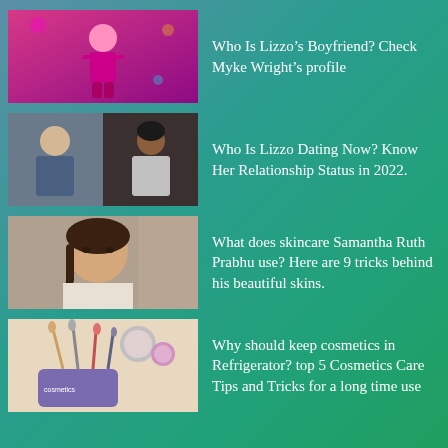[Figure (photo): Performer on stage in pink/purple outfit]
Who Is Lizzo’s Boyfriend? Check Myke Wright’s profile
[Figure (photo): Man and woman posing together for photo]
Who Is Lizzo Dating Now? Know Her Relationship Status in 2022.
[Figure (photo): Woman with braided hair, portrait]
What does skincare Samantha Ruth Prabhu use? Here are 9 tricks behind his beautiful skins.
[Figure (photo): Cosmetics and makeup brushes in container]
Why should keep cosmetics in Refrigerator? top 5 Cosmetics Care Tips and Tricks for a long time use